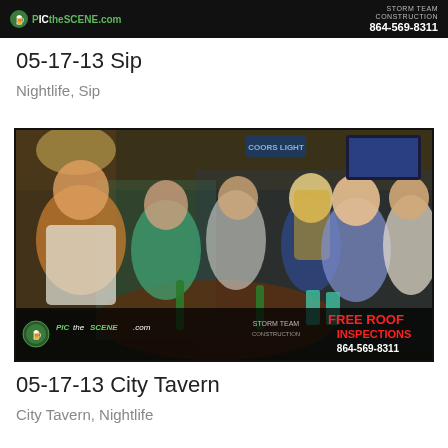[Figure (photo): Top strip of a bar/nightlife photo with PicTheScene.com logo on left and Storm Team Construction ad with phone 864-569-8311 on right, dark background]
05-17-13 Sip
Nightlife, Sip
[Figure (photo): Photo of a group of young people at a bar/pub called City Tavern, sitting around a round wooden table with drinks, smiling at the camera. Bar signage visible in background including Coors Light. Bottom overlay shows PicTheScene.com logo on left and Storm Team Construction FREE ROOF INSPECTIONS ad with phone 864-569-8311 on right.]
05-17-13 City Tavern
City Tavern, Nightlife